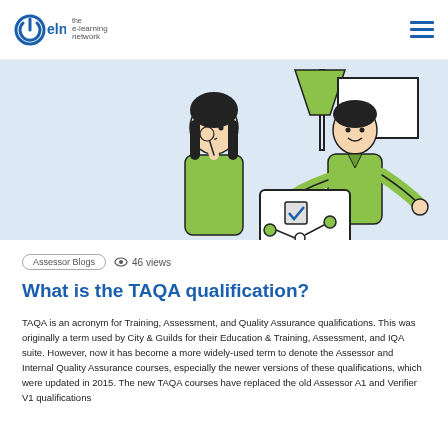eln the e-learning network
[Figure (illustration): Two cartoon figures — a woman with dark hair in a green sweater and a man in a green shirt — looking at a laptop/tablet screen together. Light blue background with a lamp illustration in the upper right corner. Line-art illustration style.]
Assessor Blogs   👁 46 views
What is the TAQA qualification?
TAQA is an acronym for Training, Assessment, and Quality Assurance qualifications. This was originally a term used by City & Guilds for their Education & Training, Assessment, and IQA suite. However, now it has become a more widely-used term to denote the Assessor and Internal Quality Assurance courses, especially the newer versions of these qualifications, which were updated in 2015. The new TAQA courses have replaced the old Assessor A1 and Verifier V1 qualifications